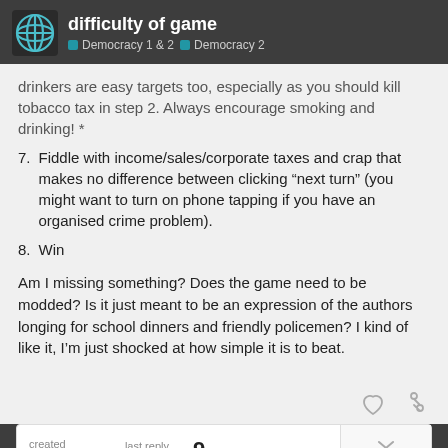difficulty of game | Democracy 1 & 2 | Democracy 2
drinkers are easy targets too, especially as you should kill tobacco tax in step 2. Always encourage smoking and drinking! *
7. Fiddle with income/sales/corporate taxes and crap that makes no difference between clicking “next turn” (you might want to turn on phone tapping if you have an organised crime problem).
8. Win
Am I missing something? Does the game need to be modded? Is it just meant to be an expression of the authors longing for school dinners and friendly policemen? I kind of like it, I’m just shocked at how simple it is to beat.
created Apr '09 | last reply Jul '09 | 9 replies | 1 / 10